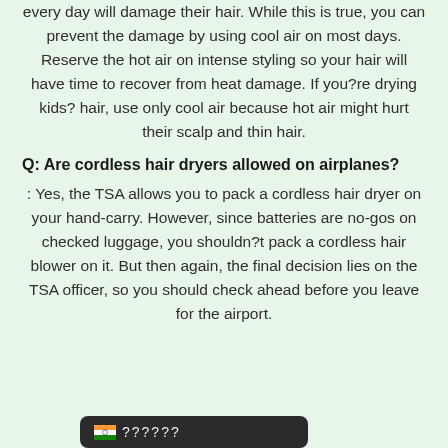every day will damage their hair. While this is true, you can prevent the damage by using cool air on most days. Reserve the hot air on intense styling so your hair will have time to recover from heat damage. If you?re drying kids? hair, use only cool air because hot air might hurt their scalp and thin hair.
Q: Are cordless hair dryers allowed on airplanes?
A: Yes, the TSA allows you to pack a cordless hair dryer on your hand-carry. However, since batteries are no-gos on checked luggage, you shouldn?t pack a cordless hair blower on it. But then again, the final decision lies on the TSA officer, so you should check ahead before you leave for the airport.